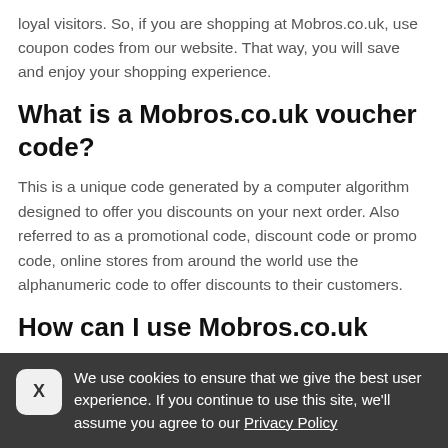loyal visitors. So, if you are shopping at Mobros.co.uk, use coupon codes from our website. That way, you will save and enjoy your shopping experience.
What is a Mobros.co.uk voucher code?
This is a unique code generated by a computer algorithm designed to offer you discounts on your next order. Also referred to as a promotional code, discount code or promo code, online stores from around the world use the alphanumeric code to offer discounts to their customers.
How can I use Mobros.co.uk discount
We use cookies to ensure that we give the best user experience. If you continue to use this site, we'll assume you agree to our Privacy Policy